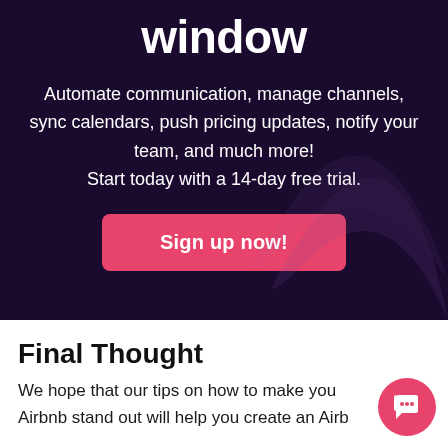window
Automate communication, manage channels, sync calendars, push pricing updates, notify your team, and much more!
Start today with a 14-day free trial.
[Figure (other): Pink/rose colored button with text 'Sign up now!']
Final Thought
We hope that our tips on how to make your Airbnb stand out will help you create an Airbnb listing that...